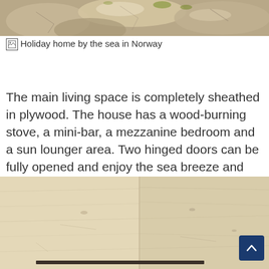[Figure (photo): Top portion of a photo showing rocky coastal landscape with stones and boulders in Norway]
Holiday home by the sea in Norway
The main living space is completely sheathed in plywood. The house has a wood-burning stove, a mini-bar, a mezzanine bedroom and a sun lounger area. Two hinged doors can be fully opened and enjoy the sea breeze and the sounds of the surf.
[Figure (photo): Interior photo showing plywood walls and ceiling of the holiday home, with diagonal wood grain patterns visible. A dark horizontal bar is visible at the bottom of the image.]